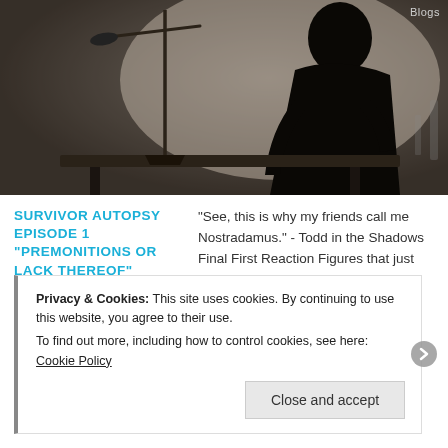[Figure (photo): Dark silhouette of a person sitting at a table with a microphone stand, against a light background. Black and white / dark toned image.]
Blogs
SURVIVOR AUTOPSY EPISODE 1 "PREMONITIONS OR LACK THEREOF"
February 18, 2016
by Maeve Andrea Johnson
Leave a comment
“See, this is why my friends call me Nostradamus.” - Todd in the Shadows Final First Reaction Figures that just after the affront to music that was the awarding of the […]
Privacy & Cookies: This site uses cookies. By continuing to use this website, you agree to their use.
To find out more, including how to control cookies, see here: Cookie Policy
Close and accept